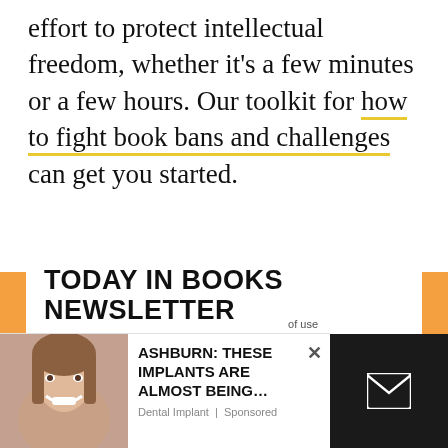effort to protect intellectual freedom, whether it's a few minutes or a few hours. Our toolkit for how to fight book bans and challenges can get you started.
TODAY IN BOOKS NEWSLETTER
Sign up to Today In Books to receive daily news and miscellany from the world of books.
[Figure (screenshot): Email signup form with orange-bordered input field labeled 'Email' and a red button labeled 'LET'S DO THIS']
[Figure (photo): Advertisement overlay showing a smiling person with text 'ASHBURN: THESE IMPLANTS ARE ALMOST BEING...' from Dental Implant, Sponsored]